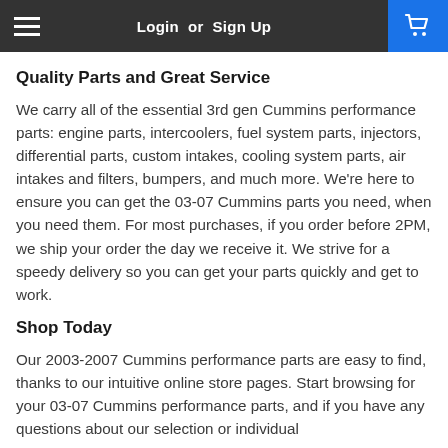Login or Sign Up
Quality Parts and Great Service
We carry all of the essential 3rd gen Cummins performance parts: engine parts, intercoolers, fuel system parts, injectors, differential parts, custom intakes, cooling system parts, air intakes and filters, bumpers, and much more. We're here to ensure you can get the 03-07 Cummins parts you need, when you need them. For most purchases, if you order before 2PM, we ship your order the day we receive it. We strive for a speedy delivery so you can get your parts quickly and get to work.
Shop Today
Our 2003-2007 Cummins performance parts are easy to find, thanks to our intuitive online store pages. Start browsing for your 03-07 Cummins performance parts, and if you have any questions about our selection or individual